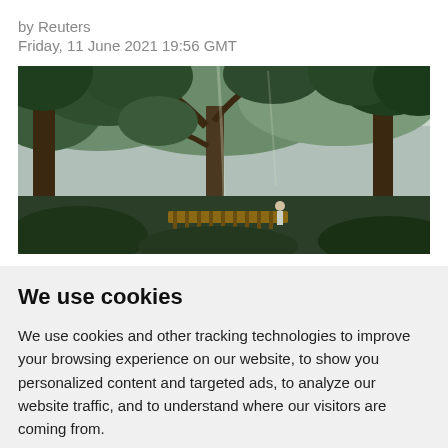by Reuters
Friday, 11 June 2021 19:56 GMT
[Figure (photo): Dense tropical rainforest with tall trees and lush green canopy. A wooden walkway/bridge is visible in the lower center of the image, with a person standing on or near it. The sky is overcast and light filters through the trees.]
We use cookies
We use cookies and other tracking technologies to improve your browsing experience on our website, to show you personalized content and targeted ads, to analyze our website traffic, and to understand where our visitors are coming from.